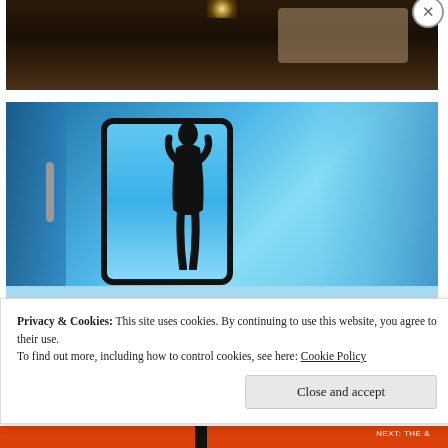[Figure (photo): Top portion of a dimly lit room with warm amber/brown tones, a woven rug visible in the upper right]
[Figure (photo): A person in a swimsuit standing inside a blue-lit float pod or sensory deprivation chamber, silhouetted against bright blue light coming through a large rounded-rectangle door/window]
Privacy & Cookies: This site uses cookies. By continuing to use this website, you agree to their use.
To find out more, including how to control cookies, see here: Cookie Policy
Close and accept